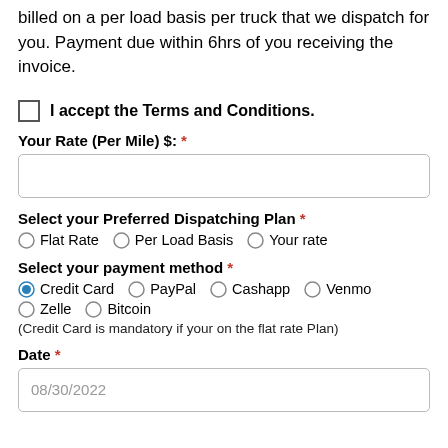billed on a per load basis per truck that we dispatch for you. Payment due within 6hrs of you receiving the invoice.
I accept the Terms and Conditions.
Your Rate (Per Mile) $: *
Select your Preferred Dispatching Plan *
Flat Rate   Per Load Basis   Your rate
Select your payment method *
Credit Card  PayPal  Cashapp  Venmo  Zelle  Bitcoin
(Credit Card is mandatory if your on the flat rate Plan)
Date *
08/30/2022